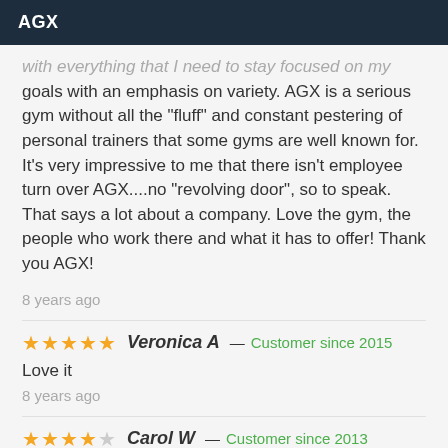AGX
with everything that I need to stay focused on my goals with an emphasis on variety. AGX is a serious gym without all the "fluff" and constant pestering of personal trainers that some gyms are well known for. It's very impressive to me that there isn't employee turn over AGX....no "revolving door", so to speak. That says a lot about a company. Love the gym, the people who work there and what it has to offer! Thank you AGX!
8 years ago
★★★★★ Veronica A — Customer since 2015
Love it
8 years ago
★★★★☆ Carol W — Customer since 2013